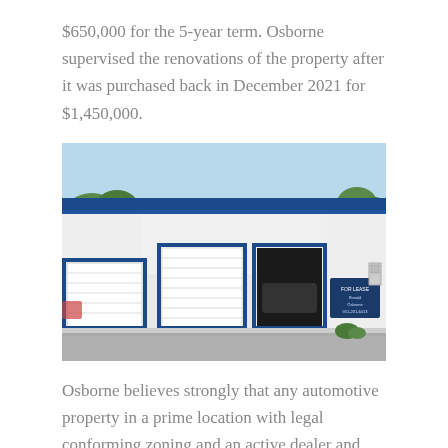$650,000 for the 5-year term. Osborne supervised the renovations of the property after it was purchased back in December 2021 for $1,450,000.
[Figure (photo): Exterior photo of a white commercial automotive building with blue trim and three roll-up garage doors. A 'For Lease' sign is visible on the right side. The building is set on a paved lot under a clear blue sky.]
Osborne believes strongly that any automotive property in a prime location with legal conforming zoning and an active dealer and repair license will only increase in long term value. He has multiple clients that